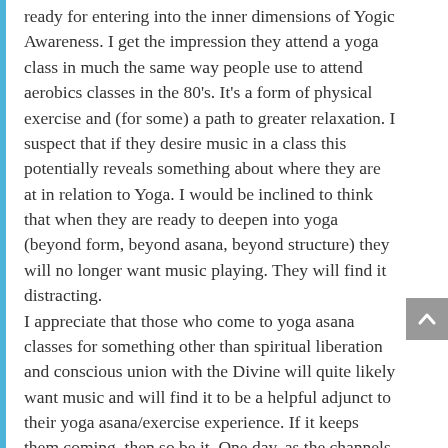ready for entering into the inner dimensions of Yogic Awareness. I get the impression they attend a yoga class in much the same way people use to attend aerobics classes in the 80's. It's a form of physical exercise and (for some) a path to greater relaxation. I suspect that if they desire music in a class this potentially reveals something about where they are at in relation to Yoga. I would be inclined to think that when they are ready to deepen into yoga (beyond form, beyond asana, beyond structure) they will no longer want music playing. They will find it distracting.
I appreciate that those who come to yoga asana classes for something other than spiritual liberation and conscious union with the Divine will quite likely want music and will find it to be a helpful adjunct to their yoga asana/exercise experience. If it keeps them coming, then so be it. One day, as the channels within their psyche